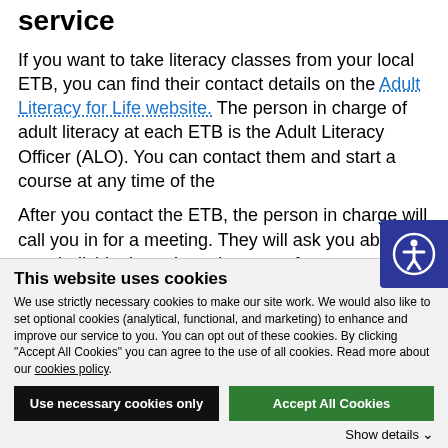service
If you want to take literacy classes from your local ETB, you can find their contact details on the Adult Literacy for Life website. The person in charge of adult literacy at each ETB is the Adult Literacy Officer (ALO). You can contact them and start a course at any time of the
After you contact the ETB, the person in charge will call you in for a meeting. They will ask you about your individual needs and arrange for you to meet a tutor.
This website uses cookies
We use strictly necessary cookies to make our site work. We would also like to set optional cookies (analytical, functional, and marketing) to enhance and improve our service to you. You can opt out of these cookies. By clicking "Accept All Cookies" you can agree to the use of all cookies. Read more about our cookies policy.